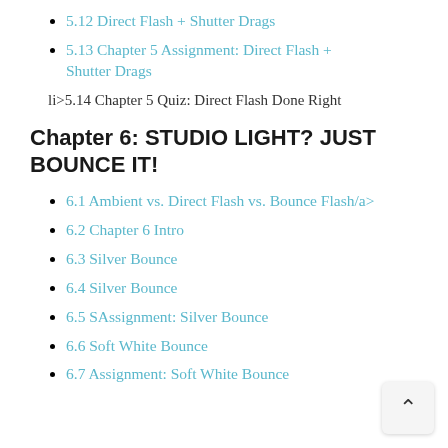5.11 Understanding Modifiers
5.12 Direct Flash + Shutter Drags
5.13 Chapter 5 Assignment: Direct Flash + Shutter Drags
li>5.14 Chapter 5 Quiz: Direct Flash Done Right
Chapter 6: STUDIO LIGHT? JUST BOUNCE IT!
6.1 Ambient vs. Direct Flash vs. Bounce Flash/a>
6.2 Chapter 6 Intro
6.3 Silver Bounce
6.4 Silver Bounce
6.5 SAssignment: Silver Bounce
6.6 Soft White Bounce
6.7 Assignment: Soft White Bounce